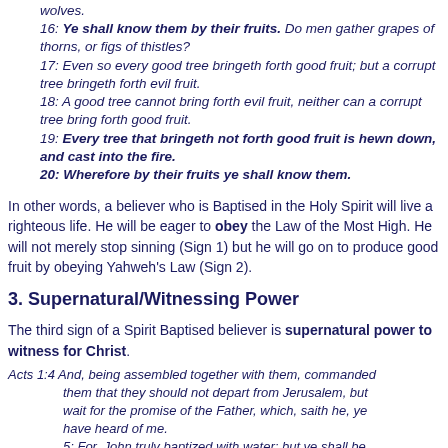wolves.
16: Ye shall know them by their fruits. Do men gather grapes of thorns, or figs of thistles?
17: Even so every good tree bringeth forth good fruit; but a corrupt tree bringeth forth evil fruit.
18: A good tree cannot bring forth evil fruit, neither can a corrupt tree bring forth good fruit.
19: Every tree that bringeth not forth good fruit is hewn down, and cast into the fire.
20: Wherefore by their fruits ye shall know them.
In other words, a believer who is Baptised in the Holy Spirit will live a righteous life. He will be eager to obey the Law of the Most High. He will not merely stop sinning (Sign 1) but he will go on to produce good fruit by obeying Yahweh's Law (Sign 2).
3. Supernatural/Witnessing Power
The third sign of a Spirit Baptised believer is supernatural power to witness for Christ.
Acts 1:4 And, being assembled together with them, commanded them that they should not depart from Jerusalem, but wait for the promise of the Father, which, saith he, ye have heard of me.
5: For, John truly baptized with water; but ye shall be